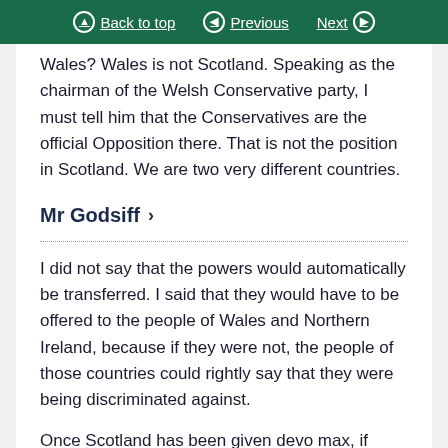Back to top | Previous | Next
Wales? Wales is not Scotland. Speaking as the chairman of the Welsh Conservative party, I must tell him that the Conservatives are the official Opposition there. That is not the position in Scotland. We are two very different countries.
Mr Godsiff
I did not say that the powers would automatically be transferred. I said that they would have to be offered to the people of Wales and Northern Ireland, because if they were not, the people of those countries could rightly say that they were being discriminated against.
Once Scotland has been given devo max, if Wales